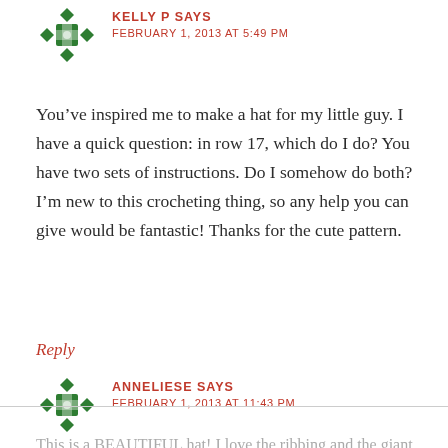[Figure (illustration): Green decorative avatar icon with snowflake-like pattern for user Kelly P]
KELLY P SAYS
FEBRUARY 1, 2013 AT 5:49 PM
You've inspired me to make a hat for my little guy. I have a quick question: in row 17, which do I do? You have two sets of instructions. Do I somehow do both? I'm new to this crocheting thing, so any help you can give would be fantastic! Thanks for the cute pattern.
Reply
[Figure (illustration): Green decorative avatar icon with snowflake-like pattern for user Anneliese]
ANNELIESE SAYS
FEBRUARY 1, 2013 AT 11:43 PM
This is a BEAUTIFUL hat! I love the ribbing and the giant